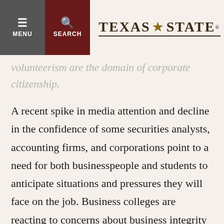TEXAS STATE — navigation header with MENU and SEARCH buttons
volunteerism are the domain of corporate citizenship.
A recent spike in media attention and decline in the confidence of some securities analysts, accounting firms, and corporations point to a need for both businesspeople and students to anticipate situations and pressures they will face on the job. Business colleges are reacting to concerns about business integrity and the need for students to know more about responsible decision making to be successful.
The book includes proprietary and innovative